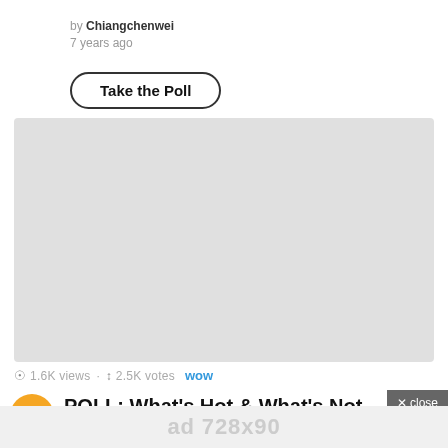by Chiangchenwei
7 years ago
Take the Poll
[Figure (other): Blank gray placeholder image area]
1.6K views  2.5K votes  wow
4  POLL: What's Hot & What's Not – 2019 TV Shows
× close
ad 728x90